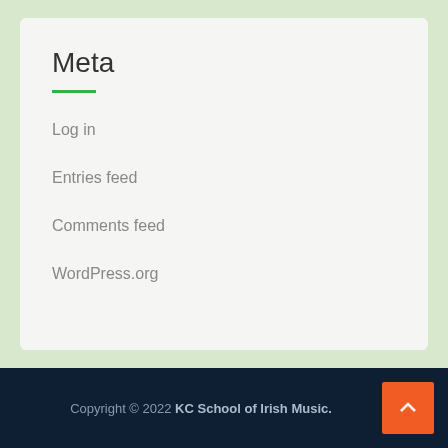Meta
Log in
Entries feed
Comments feed
WordPress.org
Copyright © 2022 KC School of Irish Music.